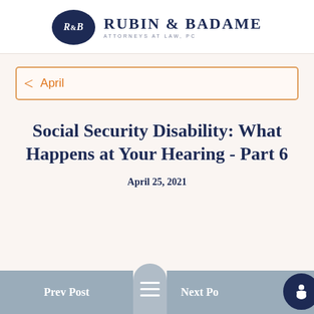[Figure (logo): Rubin & Badame Attorneys at Law, PC logo with dark navy oval containing R&B initials]
RUBIN & BADAME ATTORNEYS AT LAW, PC
< April
Social Security Disability: What Happens at Your Hearing - Part 6
April 25, 2021
Prev Post | Next Post